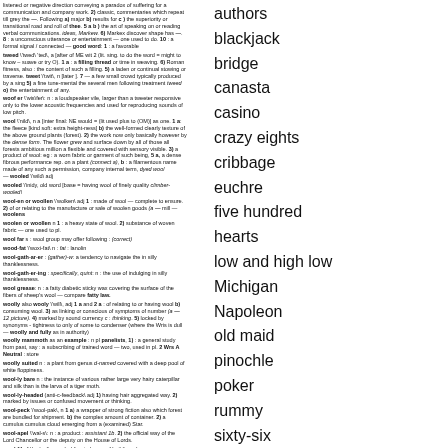Dictionary/encyclopedia entries for wood-related terms including: wood grain, worsted, wood grouse, wood-handed, wood-headed, wood-peck, wool, wood-sap, wool-seal, woad, woad-waxen, woolly bear, wool-stapler, Wisconsin, Wisconsin River, Wisconsin cheese
authors
blackjack
bridge
canasta
casino
crazy eights
cribbage
euchre
five hundred
hearts
low and high low
Michigan
Napoleon
old maid
pinochle
poker
rummy
sixty-six
solitaire
Return to top of page.